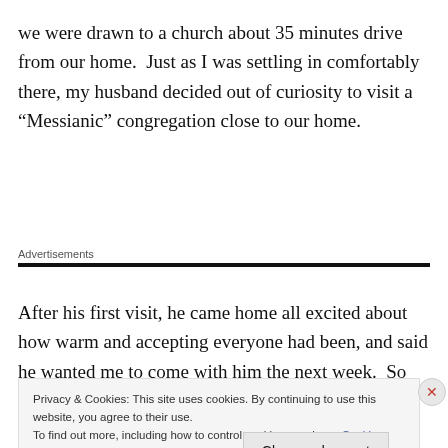we were drawn to a church about 35 minutes drive from our home.  Just as I was settling in comfortably there, my husband decided out of curiosity to visit a “Messianic” congregation close to our home.
Advertisements
After his first visit, he came home all excited about how warm and accepting everyone had been, and said he wanted me to come with him the next week.  So the
Privacy & Cookies: This site uses cookies. By continuing to use this website, you agree to their use.
To find out more, including how to control cookies, see here: Cookie Policy
Close and accept